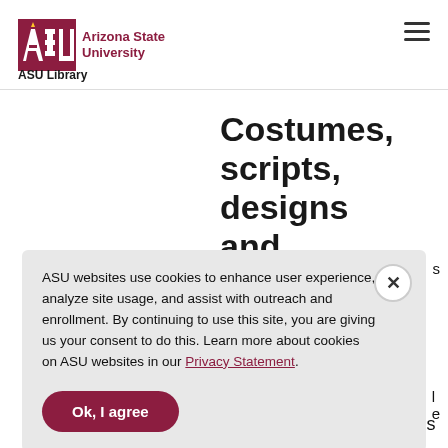ASU — Arizona State University · ASU Library
Costumes, scripts, designs and ephemera
ASU websites use cookies to enhance user experience, analyze site usage, and assist with outreach and enrollment. By continuing to use this site, you are giving us your consent to do this. Learn more about cookies on ASU websites in our Privacy Statement.
Ok, I agree
repository of materials related to children's